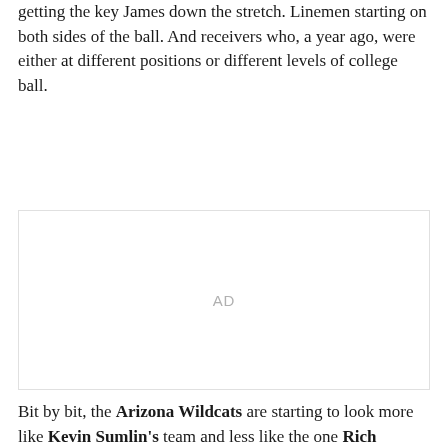getting the key James down the stretch. Linemen starting on both sides of the ball. And receivers who, a year ago, were either at different positions or different levels of college ball.
[Figure (other): Advertisement placeholder box with 'AD' label in center]
Bit by bit, the Arizona Wildcats are starting to look more like Kevin Sumlin's team and less like the one Rich Rodriguez left behind for him.